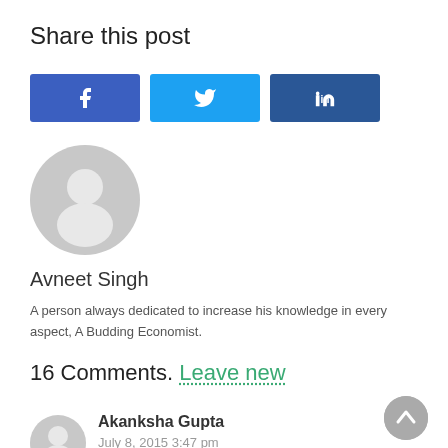Share this post
[Figure (other): Share buttons for Facebook, Twitter, and LinkedIn]
[Figure (other): Generic user avatar (grey silhouette circle)]
Avneet Singh
A person always dedicated to increase his knowledge in every aspect, A Budding Economist.
16 Comments. Leave new
Akanksha Gupta
July 8, 2015 3:47 pm